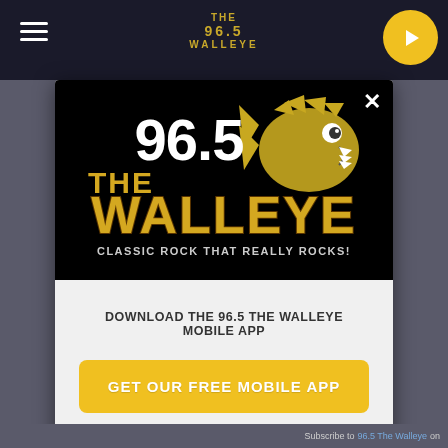[Figure (screenshot): Background of a radio station website showing dark header bar with hamburger menu icon, 96.5 The Walleye logo in gold text at top center, and a yellow circular play button at top right.]
[Figure (logo): 96.5 The Walleye radio station logo on black background — gold and white text '96.5' with 'THE WALLEYE' in large gold letters below, a fierce fish mascot graphic upper right, and 'CLASSIC ROCK THAT REALLY ROCKS!' tagline at bottom.]
DOWNLOAD THE 96.5 THE WALLEYE MOBILE APP
GET OUR FREE MOBILE APP
Also listen on:  amazon alexa